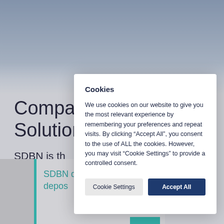Compara Solution
SDBN is th highest liq institutiona
SDBN d depos
Cookies
We use cookies on our website to give you the most relevant experience by remembering your preferences and repeat visits. By clicking “Accept All”, you consent to the use of ALL the cookies. However, you may visit “Cookie Settings” to provide a controlled consent.
Cookie Settings
Accept All